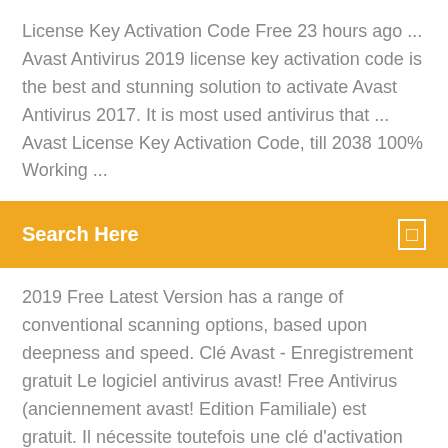License Key Activation Code Free 23 hours ago ... Avast Antivirus 2019 license key activation code is the best and stunning solution to activate Avast Antivirus 2017. It is most used antivirus that ... Avast License Key Activation Code, till 2038 100% Working ...
Search Here
2019 Free Latest Version has a range of conventional scanning options, based upon deepness and speed. Clé Avast - Enregistrement gratuit Le logiciel antivirus avast! Free Antivirus (anciennement avast! Edition Familiale) est gratuit. Il nécessite toutefois une clé d'activation pour fonctionner au-delà de 30 jours. Cette clé est ... Télécharger Avast Antivirus Gratuit 2019 - 01net.com ...
avast premier 2019 is one of the best antivirus software. avast premier 2019 license key till lifetime download